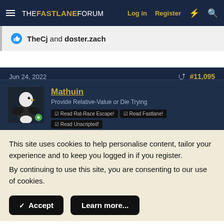THE FASTLANE FORUM  Log in  Register
TheCj and doster.zach
Jun 24, 2022  #11,095
Mathuin
Provide Relative-Value or Die Trying
Read Rat-Race Escape!  Read Fastlane!  Read Unscripted!
This site uses cookies to help personalise content, tailor your experience and to keep you logged in if you register.
By continuing to use this site, you are consenting to our use of cookies.
Accept  Learn more...